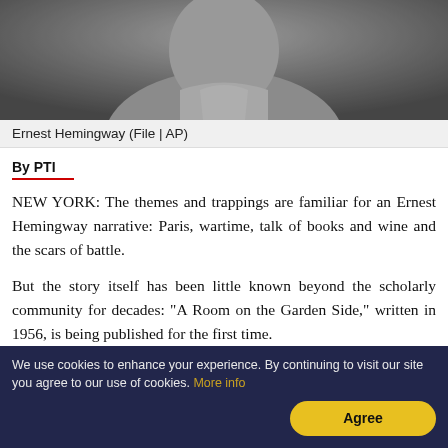[Figure (photo): Black and white photograph of Ernest Hemingway, cropped to show upper body, wearing a light jacket with hands clasped near chin.]
Ernest Hemingway (File | AP)
By PTI
NEW YORK: The themes and trappings are familiar for an Ernest Hemingway narrative: Paris, wartime, talk of books and wine and the scars of battle.
But the story itself has been little known beyond the scholarly community for decades: "A Room on the Garden Side," written in 1956, is being published for the first time.
We use cookies to enhance your experience. By continuing to visit our site you agree to our use of cookies. More info